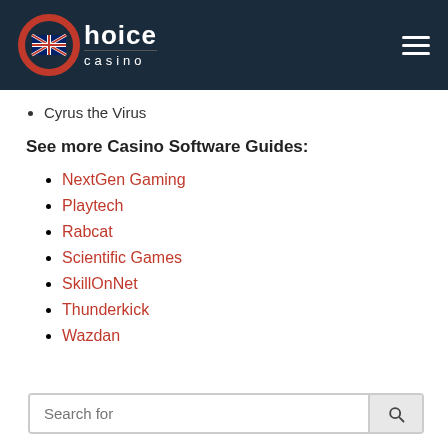Choice Casino
Cyrus the Virus
See more Casino Software Guides:
NextGen Gaming
Playtech
Rabcat
Scientific Games
SkillOnNet
Thunderkick
Wazdan